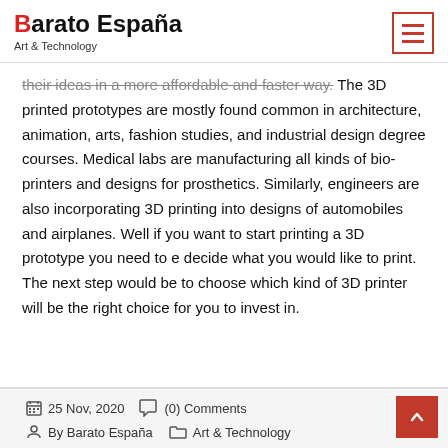Barato España
Art & Technology
their ideas in a more affordable and faster way. The 3D printed prototypes are mostly found common in architecture, animation, arts, fashion studies, and industrial design degree courses. Medical labs are manufacturing all kinds of bio-printers and designs for prosthetics. Similarly, engineers are also incorporating 3D printing into designs of automobiles and airplanes. Well if you want to start printing a 3D prototype you need to e decide what you would like to print. The next step would be to choose which kind of 3D printer will be the right choice for you to invest in.
25 Nov, 2020   (0) Comments
By Barato España   Art & Technology